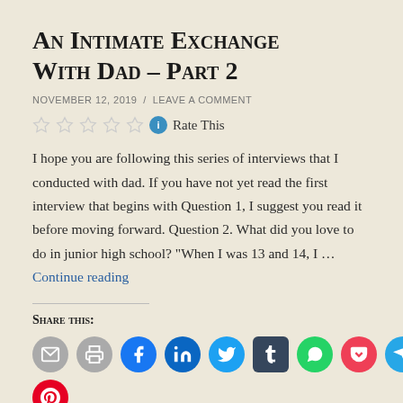An Intimate Exchange With Dad – Part 2
NOVEMBER 12, 2019  /  LEAVE A COMMENT
Rate This
I hope you are following this series of interviews that I conducted with dad. If you have not yet read the first interview that begins with Question 1, I suggest you read it before moving forward. Question 2. What did you love to do in junior high school? "When I was 13 and 14, I … Continue reading
Share this:
[Figure (infographic): Row of social share icon buttons: email (grey), print (grey), Facebook (blue), LinkedIn (dark blue), Twitter (light blue), Tumblr (dark square), WhatsApp (green), Pocket (red/pink), Telegram (blue), Skype (sky blue). Below: partially visible Pinterest (red) circle.]